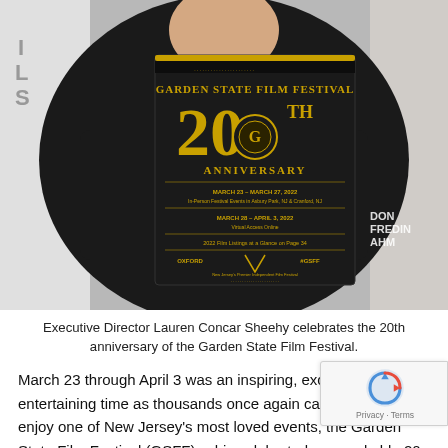[Figure (photo): A woman in a black leather jacket holds up a dark program booklet for the Garden State Film Festival 20th Anniversary. The booklet shows gold text reading 'Garden State Film Festival 20th Anniversary' with dates March 23–March 27, 2022 and March 28–April 3, 2022. A watermark reads 'DON FREDIN AHM'.]
Executive Director Lauren Concar Sheehy celebrates the 20th anniversary of the Garden State Film Festival.
March 23 through April 3 was an inspiring, exciting and entertaining time as thousands once again came together to enjoy one of New Jersey's most loved events, the Garden State Film Festival (GSFF), which celebrated a remarkable 20-year anniversary in